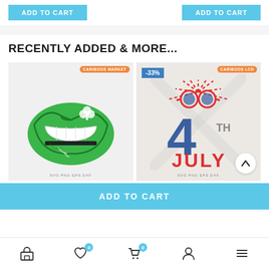[Figure (screenshot): Two 'ADD TO CART' buttons at the top of the page]
RECENTLY ADDED & MORE...
[Figure (illustration): Green lips with shamrock SVG product image, labeled SVG PNG EPS DXF, with Cariboos Market badge]
[Figure (illustration): 4th of July SVG with sunglasses and fireworks, labeled SVG PNG EPS DXF, with -33% discount badge and Cariboos LCD badge]
ADD TO CART
[Figure (infographic): Bottom navigation bar with shop, wishlist (0), cart (0), account, and menu icons]